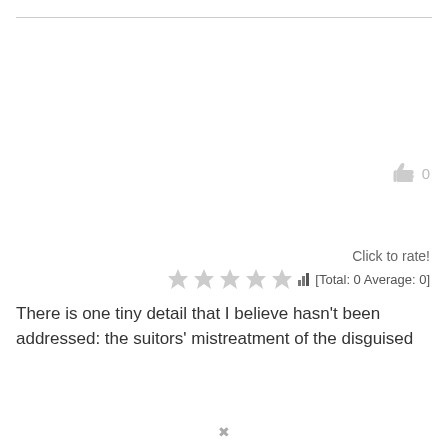[Figure (illustration): Thumbs up icon with count 0]
Click to rate!
[Figure (illustration): Five grey stars rating widget with bar chart icon and text [Total: 0 Average: 0]]
There is one tiny detail that I believe hasn't been addressed: the suitors' mistreatment of the disguised